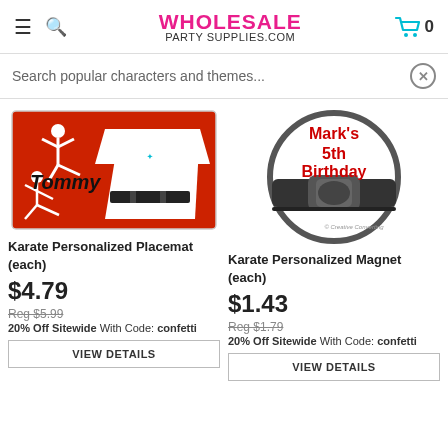WHOLESALE PARTY SUPPLIES.COM
Search popular characters and themes...
[Figure (illustration): Karate personalized placemat product image on red background with karate figures and a white gi with black belt, labeled Tommy]
Karate Personalized Placemat (each)
$4.79
Reg $5.99
20% Off Sitewide With Code: confetti
VIEW DETAILS
[Figure (illustration): Karate personalized magnet product image showing a circular magnet with karate black belt and text Mark's 5th Birthday in red]
Karate Personalized Magnet (each)
$1.43
Reg $1.79
20% Off Sitewide With Code: confetti
VIEW DETAILS